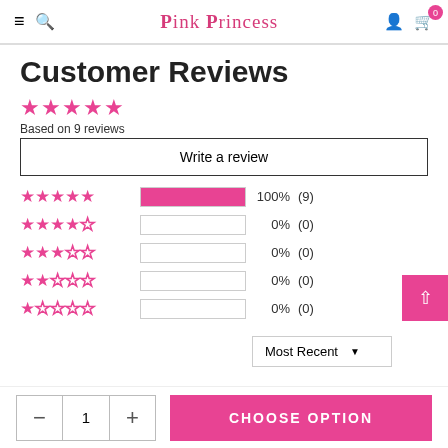≡ 🔍 PINK PRINCESS 👤 🛒 0
Customer Reviews
★★★★★ Based on 9 reviews
Write a review
[Figure (bar-chart): Rating distribution]
Most Recent ▼
− 1 + CHOOSE OPTION